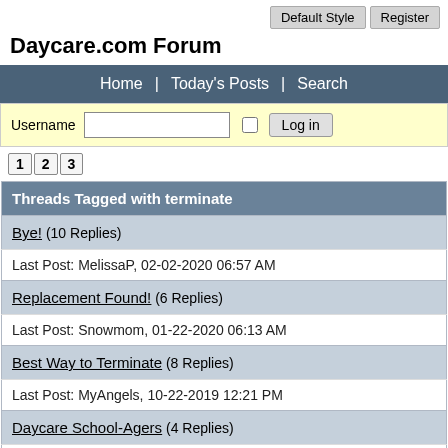Default Style  Register
Daycare.com Forum
Home | Today's Posts | Search
Username  [input]  [checkbox]  Log in
1 2 3
Threads Tagged with terminate
Bye! (10 Replies)
Last Post: MelissaP, 02-02-2020 06:57 AM
Replacement Found! (6 Replies)
Last Post: Snowmom, 01-22-2020 06:13 AM
Best Way to Terminate (8 Replies)
Last Post: MyAngels, 10-22-2019 12:21 PM
Daycare School-Agers (4 Replies)
Last Post: Unregistered, 10-16-2019 11:06 AM
Laxatives Before Drop Off (7 Replies)
Last Post: Blackcat31, 07-26-2019 09:30 AM
Can I Do Anything Other Than Terminate? (39 Replies)